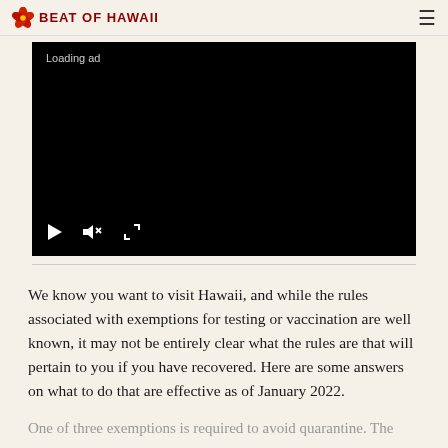BEAT OF HAWAii
[Figure (screenshot): Black video player with 'Loading ad' text and playback controls (play, mute, fullscreen) at the bottom]
We know you want to visit Hawaii, and while the rules associated with exemptions for testing or vaccination are well known, it may not be entirely clear what the rules are that will pertain to you if you have recovered. Here are some answers on what to do that are effective as of January 2022.
One of three exemptions is required to avoid quarantine. The